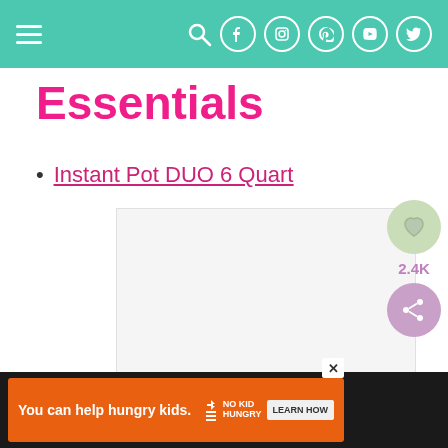Navigation bar with hamburger menu and social icons
Essentials
Instant Pot DUO 6 Quart
[Figure (photo): Product image placeholder area (light gray box)]
[Figure (other): Social sidebar with heart icon, 2.4K count, and share icon, plus a related card showing Pressure Cooker Soy... with food thumbnail, and a yellow up-arrow scroll button]
You can help hungry kids. NO KID HUNGRY LEARN HOW